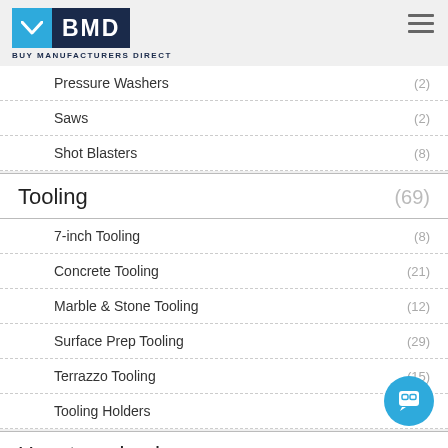BMD Buy Manufacturers Direct
Pressure Washers (2)
Saws (2)
Shot Blasters (8)
Tooling (69)
7-inch Tooling (8)
Concrete Tooling (21)
Marble & Stone Tooling (12)
Surface Prep Tooling (29)
Terrazzo Tooling (15)
Tooling Holders
Uncategorized